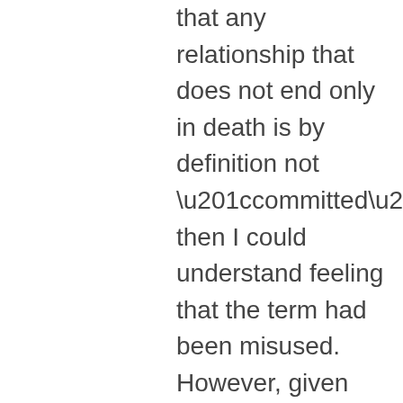that any relationship that does not end only in death is by definition not “committed” then I could understand feeling that the term had been misused. However, given that the intended meaning of the term was clear in context (possible raising of eyebrows notwithstanding), pointing out a difference in personal definitions seems unnecessary, unless the aim